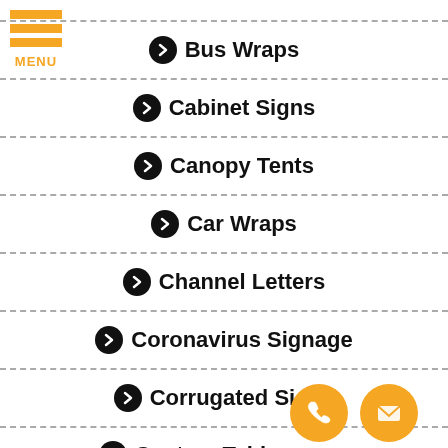[Figure (other): Orange hamburger menu icon with three horizontal bars and MENU label]
➔ Bus Wraps
➔ Cabinet Signs
➔ Canopy Tents
➔ Car Wraps
➔ Channel Letters
➔ Coronavirus Signage
➔ Corrugated Signs
➔ Custom Tablecovers
[Figure (other): Orange circular phone button and orange circular email button in bottom right corner]